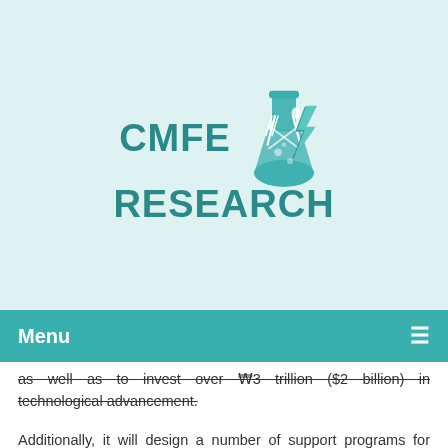[Figure (logo): CMFE RESEARCH logo with a laboratory flask containing crossed fork and spoon icons, with a lightning bolt, in teal color]
Menu ≡
as well as to invest over ₩3 trillion ($2 billion) in technological advancement.
Additionally, it will design a number of support programs for smaller nuclear energy firms, involving ₩100 billion ($76 million) in emergency funds.
According to the ministry, roughly ₩40 billion ($30 million) will be set aside through 2028 to develop an advanced domestic compact modular reactor.
I need to check cooperation in the field and off...